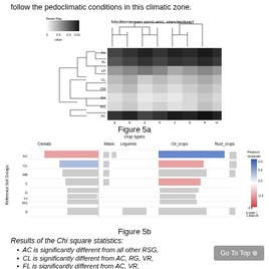follow the pedoclimatic conditions in this climatic zone.
[Figure (other): Heatmap with dendrogram titled Mediterranean semi-arid, standardized. Shows clustered soil groups vs crop type columns with grayscale color encoding. Color scale ranges from 0 (white) to higher values (dark). X-axis shows labels: a, 6, 2, 5, 1, 5, 4, d. Y-axis shows: Fn, AL, LP, CL, CM, RA, RG, AC.]
Figure 5a
[Figure (bar-chart): Horizontal bar chart showing Pearson residuals for Reference Soil Groups vs crop types (Cereals, Maize, Legumes, Oil_crops, Root_crops). Color scale: blue (positive ~4.0-6.0) to red/pink (negative ~-2.0 to -3.6). Y-axis labels: AC, CL, RB, C, D, Lv, RG, S. X-axis: crop type categories.]
Figure 5b
Results of the Chi square statistics:
AC is significantly different from all other RSG,
CL is significantly different from AC, RG, VR,
FL is significantly different from AC, VR,